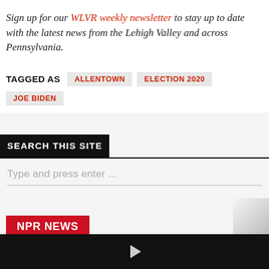Sign up for our WLVR weekly newsletter to stay up to date with the latest news from the Lehigh Valley and across Pennsylvania.
TAGGED AS   ALLENTOWN   ELECTION 2020   JOE BIDEN
SEARCH THIS SITE
Type and press enter ...
NPR NEWS